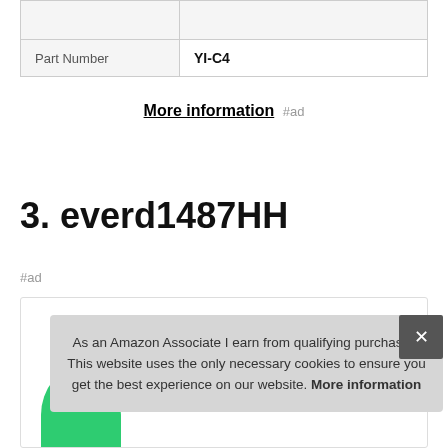|  |  |
| --- | --- |
|  |  |
| Part Number | YI-C4 |
More information #ad
3. everd1487HH
#ad
As an Amazon Associate I earn from qualifying purchases. This website uses the only necessary cookies to ensure you get the best experience on our website. More information